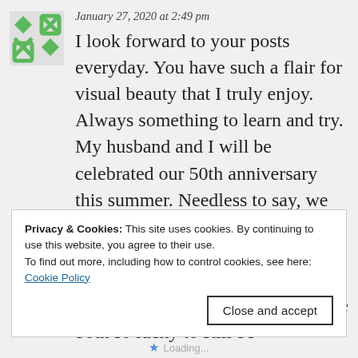January 27, 2020 at 2:49 pm
I look forward to your posts everyday. You have such a flair for visual beauty that I truly enjoy. Always something to learn and try. My husband and I will be celebrated our 50th anniversary this summer. Needless to say, we have seen many Valentines Days come and go. We just enjoy being together now and do not feel the need to go out and be fancy. We are both so lucky to still be
Privacy & Cookies: This site uses cookies. By continuing to use this website, you agree to their use.
To find out more, including how to control cookies, see here:
Cookie Policy
Close and accept
Loading...